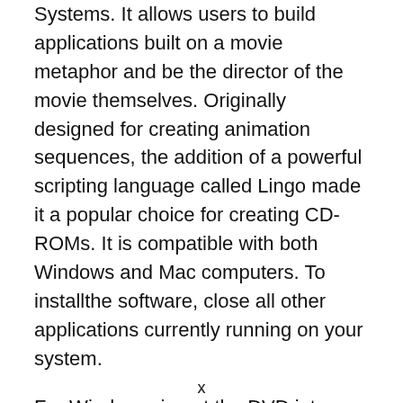Systems. It allows users to build applications built on a movie metaphor and be the director of the movie themselves. Originally designed for creating animation sequences, the addition of a powerful scripting language called Lingo made it a popular choice for creating CD-ROMs. It is compatible with both Windows and Mac computers. To installthe software, close all other applications currently running on your system.
For Windows, insert the DVD into your drive, and follow the on-screen instructions.
x